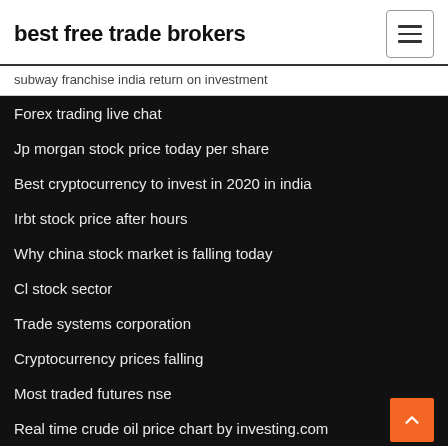best free trade brokers
subway franchise india return on investment
Forex trading live chat
Jp morgan stock price today per share
Best cryptocurrency to invest in 2020 in india
Irbt stock price after hours
Why china stock market is falling today
Cl stock sector
Trade systems corporation
Cryptocurrency prices falling
Most traded futures nse
Real time crude oil price chart by investing.com